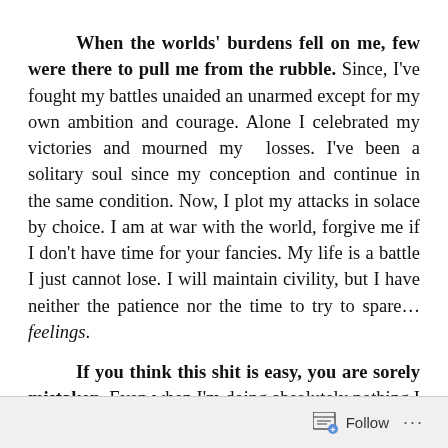When the worlds' burdens fell on me, few were there to pull me from the rubble. Since, I've fought my battles unaided an unarmed except for my own ambition and courage. Alone I celebrated my victories and mourned my losses. I've been a solitary soul since my conception and continue in the same condition. Now, I plot my attacks in solace by choice. I am at war with the world, forgive me if I don't have time for your fancies. My life is a battle I just cannot lose. I will maintain civility, but I have neither the patience nor the time to try to spare… feelings.

If you think this shit is easy, you are sorely mistaken. Even when I'm doing absolutely nothing I am
Follow ···